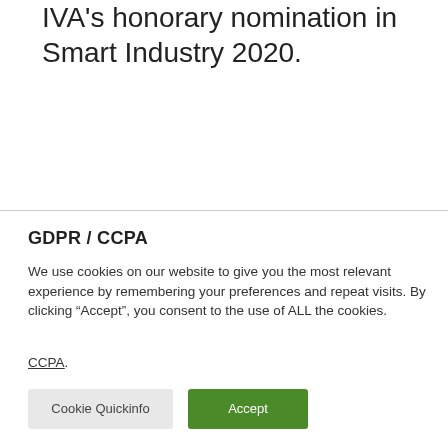IVA's honorary nomination in Smart Industry 2020.
GDPR / CCPA
We use cookies on our website to give you the most relevant experience by remembering your preferences and repeat visits. By clicking “Accept”, you consent to the use of ALL the cookies.
CCPA.